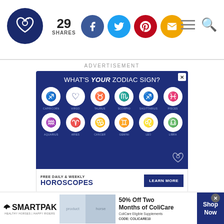29 SHARES — social share buttons (Facebook, Twitter, Pinterest, Email)
ADVERTISEMENT
[Figure (infographic): Zodiac sign advertisement: WHAT'S YOUR ZODIAC SIGN? with 12 zodiac symbols in white circles on dark navy background: Capricorn, Virgo, Taurus, Scorpio, Sagittarius, Pisces, Aquarius, Aries, Cancer, Gemini, Leo, Libra. Below: FREE DAILY & WEEKLY HOROSCOPES — LEARN MORE button.]
[Figure (infographic): SmartPak advertisement at bottom: 50% Off Two Months of ColiCare. ColiCare Eligible Supplements CODE: COLICARE10. Shop Now button. SmartPak logo with horse.]